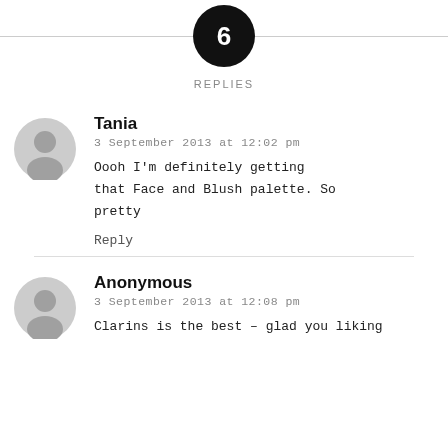[Figure (other): Black circle with number 6 inside, centered on a horizontal divider line, representing 6 replies]
REPLIES
Tania
3 September 2013 at 12:02 pm
Oooh I&#39;m definitely getting that Face and Blush palette. So pretty
Reply
Anonymous
3 September 2013 at 12:08 pm
Clarins is the best – glad you liking